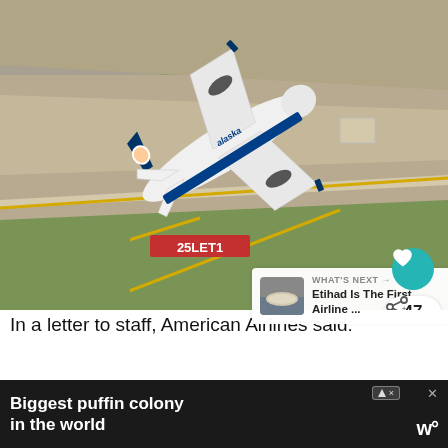[Figure (photo): Aerial view of an Alaska Airlines Boeing 737 on an airport tarmac/runway, viewed from above. The white aircraft with blue Alaska Airlines livery is seen from above, diagonally oriented on the tarmac. Airport markings and yellow lines are visible on the gray tarmac. A teal/turquoise heart-shaped like button overlay is visible in the bottom-right corner of the photo, along with a share button showing count 47.]
WHAT'S NEXT → Etihad Is The First Airline ...
In a letter to staff, American Airlines said:
Biggest puffin colony in the world